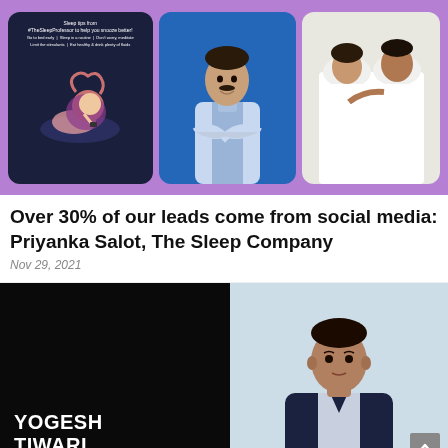[Figure (photo): Purple background banner with three images: left is a dark card with sleep tips illustration of a woman, center is a Bollywood actor in a light blue suit with arms crossed against blue background, right is a couple sleeping in bed under white covers]
Over 30% of our leads come from social media: Priyanka Salot, The Sleep Company
Nov 29, 2021
[Figure (photo): Bottom row: left side shows black background card with bold white text 'YOGESH TIWARI'; right side shows a man in a dark suit against light blue background]